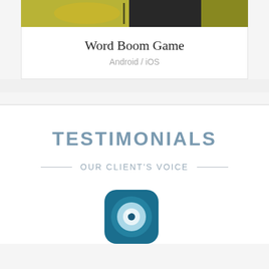[Figure (illustration): Top portion of a Word Boom Game app screenshot or promotional image showing stylized colorful game graphics with dark background]
Word Boom Game
Android / iOS
TESTIMONIALS
OUR CLIENT'S VOICE
[Figure (logo): Circular app icon with teal/blue rounded square background showing a stylized eye or lens graphic in light blue and white tones]